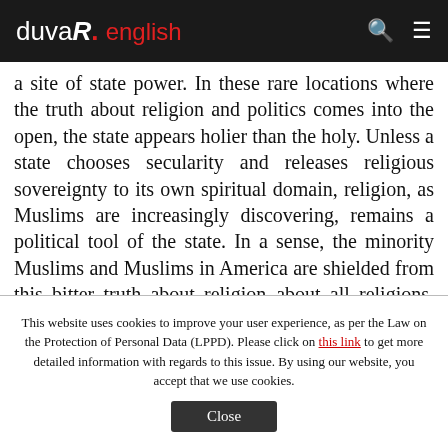duvaR. english
a site of state power. In these rare locations where the truth about religion and politics comes into the open, the state appears holier than the holy. Unless a state chooses secularity and releases religious sovereignty to its own spiritual domain, religion, as Muslims are increasingly discovering, remains a political tool of the state. In a sense, the minority Muslims and Muslims in America are shielded from this bitter truth about religion–about all religions, Islam included–by their purely civic
This website uses cookies to improve your user experience, as per the Law on the Protection of Personal Data (LPPD). Please click on this link to get more detailed information with regards to this issue. By using our website, you accept that we use cookies.